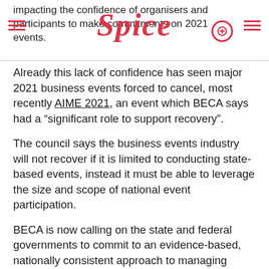impacting the confidence of organisers and participants to make commitments on 2021 events.
Already this lack of confidence has seen major 2021 business events forced to cancel, most recently AIME 2021, an event which BECA says had a “significant role to support recovery”.
The council says the business events industry will not recover if it is limited to conducting state-based events, instead it must be able to leverage the size and scope of national event participation.
BECA is now calling on the state and federal governments to commit to an evidence-based, nationally consistent approach to managing internal borders, in order to avoid the